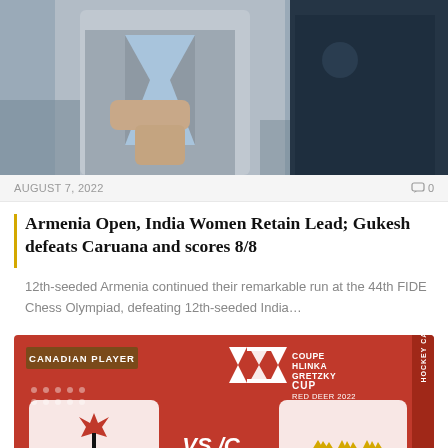[Figure (photo): Two people seated side by side, one wearing a gray blazer and light blue shirt, another in a dark navy jacket]
AUGUST 7, 2022
0
Armenia Open, India Women Retain Lead; Gukesh defeats Caruana and scores 8/8
12th-seeded Armenia continued their remarkable run at the 44th FIDE Chess Olympiad, defeating 12th-seeded India…
[Figure (photo): Hockey Canada promotional image for Coupe Hlinka Gretzky Cup 2022 on red background showing Canada vs Sweden with CANADIAN PLAYER badge]